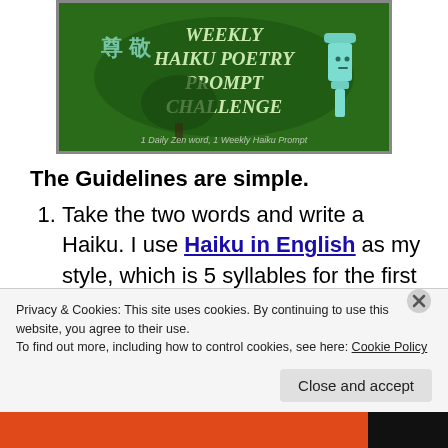[Figure (illustration): Green banner image for Weekly Haiku Poetry Prompt Challenge with Chinese characters 尊敬, white stylized text, bonsai tree silhouette, and teal lantern figure. Bottom text: '1 Daily Zen word, 1 Weekly Haiku Prompt']
The Guidelines are simple.
Take the two words and write a Haiku. I use Haiku in English as my style, which is 5 syllables for the first line, 7 for the second, and 5 for the third, but you can
Privacy & Cookies: This site uses cookies. By continuing to use this website, you agree to their use.
To find out more, including how to control cookies, see here: Cookie Policy
Close and accept